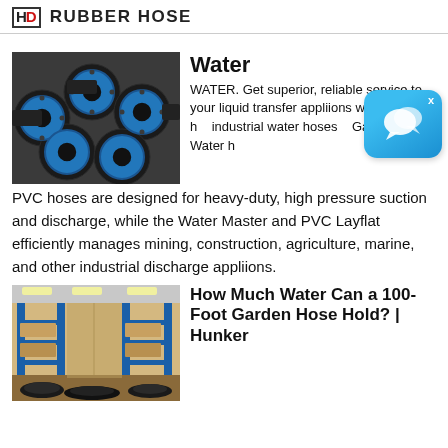HD RUBBER HOSE
Water
WATER. Get superior, reliable service to your liquid transfer appliions with Water h... industrial water hoses... Gates. Gates Water h... PVC hoses are designed for heavy-duty, high pressure suction and discharge, while the Water Master and PVC Layflat efficiently manages mining, construction, agriculture, marine, and other industrial discharge appliions.
[Figure (photo): Industrial rubber hoses with blue flanged ends stacked together]
[Figure (other): Chat/support bubble icon overlay]
How Much Water Can a 100-Foot Garden Hose Hold? | Hunker
[Figure (photo): Factory warehouse interior with blue shelving and industrial hoses]